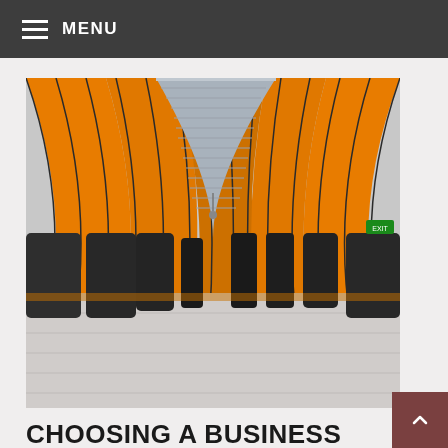MENU
[Figure (photo): Interior of a subway station with curved orange/yellow tiled arched ceiling and walls, silver metallic ceiling in the center tunnel, dark cylindrical columns along the sides, and a wide gray tiled floor receding into the distance.]
CHOOSING A BUSINESS